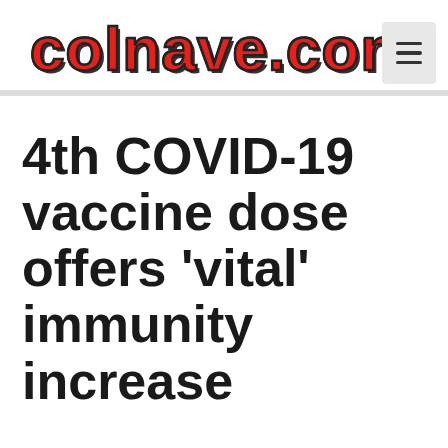colnave.com
4th COVID-19 vaccine dose offers 'vital' immunity increase